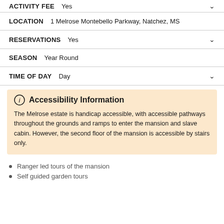ACTIVITY FEE   Yes
LOCATION   1 Melrose Montebello Parkway, Natchez, MS
RESERVATIONS   Yes
SEASON   Year Round
TIME OF DAY   Day
Accessibility Information
The Melrose estate is handicap accessible, with accessible pathways throughout the grounds and ramps to enter the mansion and slave cabin. However, the second floor of the mansion is accessible by stairs only.
Ranger led tours of the mansion
Self guided garden tours